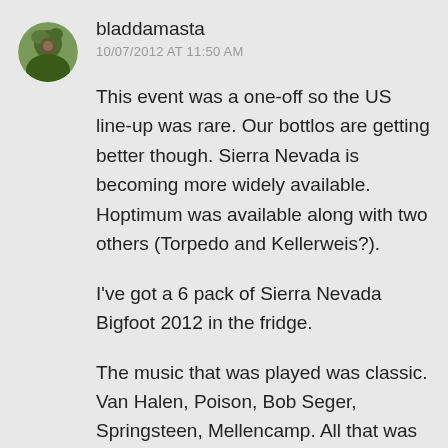[Figure (photo): Small circular avatar photo of user bladdamasta, showing a person outdoors with green/dark tones]
bladdamasta
10/07/2012 AT 11:50 AM
This event was a one-off so the US line-up was rare. Our bottlos are getting better though. Sierra Nevada is becoming more widely available. Hoptimum was available along with two others (Torpedo and Kellerweis?).
I've got a 6 pack of Sierra Nevada Bigfoot 2012 in the fridge.
The music that was played was classic. Van Halen, Poison, Bob Seger, Springsteen, Mellencamp. All that was missing was the MTV disclaimer…